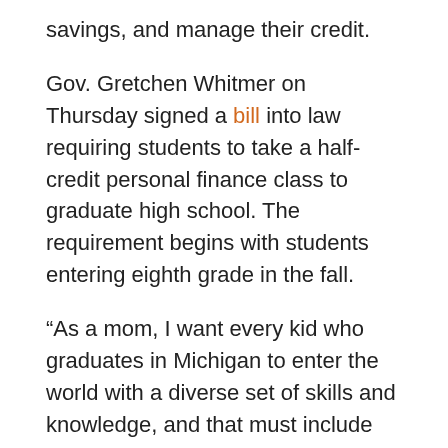savings, and manage their credit.
Gov. Gretchen Whitmer on Thursday signed a bill into law requiring students to take a half-credit personal finance class to graduate high school. The requirement begins with students entering eighth grade in the fall.
“As a mom, I want every kid who graduates in Michigan to enter the world with a diverse set of skills and knowledge, and that must include financial literacy,” Whitmer said in a written statement.
At the discretion of local school boards, the course could fulfill a half-credit in math, world language, or the arts. Currently, the Michigan Merit Curriculum requires four credits in math, two in a language other than English, and one in visual, performing, or applied arts.